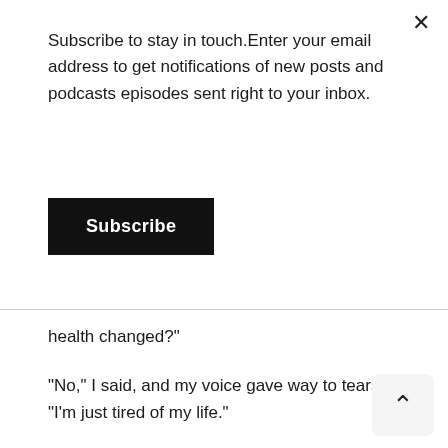Subscribe to stay in touch.Enter your email address to get notifications of new posts and podcasts episodes sent right to your inbox.
Subscribe
health changed?"
“No,” I said, and my voice gave way to tears. “I’m just tired of my life.”
She told me she was sorry. She told me that it’s shitty. I said reflexively, “It’s OK,” and she said, “No, it’s not OK. It’s OK that it’s not OK.”
“You’re right,” I said. “It’s not ok, but I’m going to be OK.”
It was enough. She saw me, she heard me and she